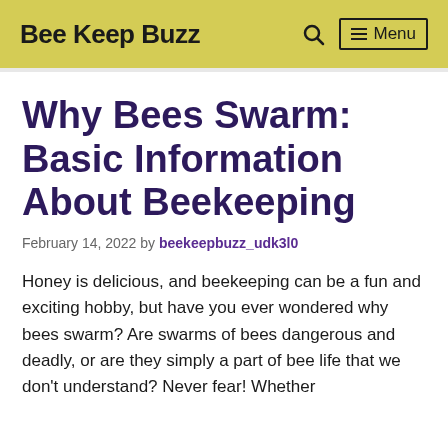Bee Keep Buzz
Why Bees Swarm: Basic Information About Beekeeping
February 14, 2022 by beekeepbuzz_udk3l0
Honey is delicious, and beekeeping can be a fun and exciting hobby, but have you ever wondered why bees swarm? Are swarms of bees dangerous and deadly, or are they simply a part of bee life that we don't understand? Never fear! Whether